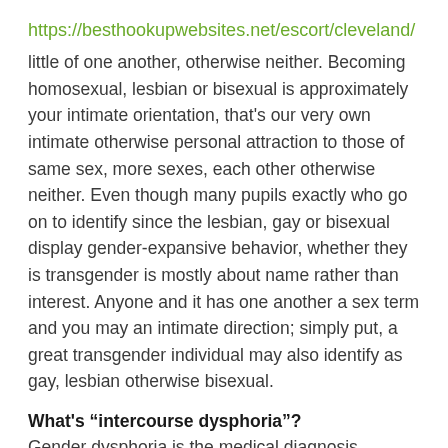https://besthookupwebsites.net/escort/cleveland/
little of one another, otherwise neither. Becoming homosexual, lesbian or bisexual is approximately your intimate orientation, that’s our very own intimate otherwise personal attraction to those of same sex, more sexes, each other otherwise neither. Even though many pupils exactly who go on to identify since the lesbian, gay or bisexual display gender-expansive behavior, whether they is transgender is mostly about name rather than interest. Anyone and it has one another a sex term and you may an intimate direction; simply put, a great transgender individual may also identify as gay, lesbian otherwise bisexual.
What’s “intercourse dysphoria”?
Gender dysphoria is the medical diagnosis